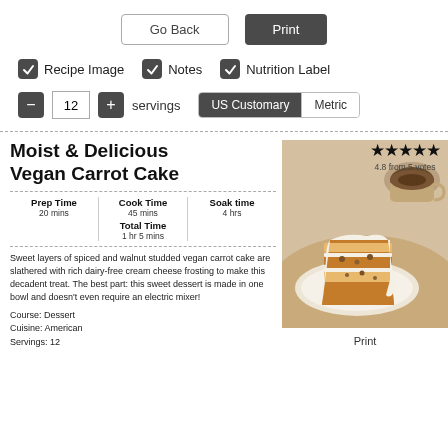Go Back | Print
Recipe Image  Notes  Nutrition Label
- 12 + servings  US Customary  Metric
Moist & Delicious Vegan Carrot Cake
4.8 from 5 votes
Prep Time 20 mins | Cook Time 45 mins | Soak time 4 hrs | Total Time 1 hr 5 mins
[Figure (photo): A slice of layered carrot cake with white cream cheese frosting on a plate, with a cup of coffee in the background]
Sweet layers of spiced and walnut studded vegan carrot cake are slathered with rich dairy-free cream cheese frosting to make this decadent treat. The best part: this sweet dessert is made in one bowl and doesn't even require an electric mixer!
Course: Dessert
Cuisine: American
Servings: 12
Print